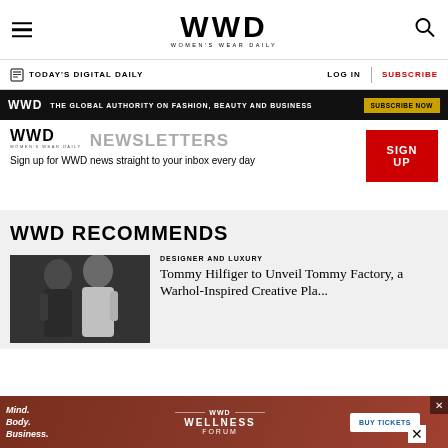WWD WOMEN'S WEAR DAILY
TODAY'S DIGITAL DAILY   LOG IN   SUBSCRIBE
WWD — THE GLOBAL AUTHORITY ON FASHION, BEAUTY AND BUSINESS — SUBSCRIBE NOW
WWD NEWSLETTERS
Sign up for WWD news straight to your inbox every day
SIGN UP
WWD RECOMMENDS
DESIGNER AND LUXURY
Tommy Hilfiger to Unveil Tommy Factory, a Warhol-Inspired Creative Playground
[Figure (photo): Black and white photo of two people]
Mind. Body. Business. WWD WELLNESS FORUM — BUY TICKETS